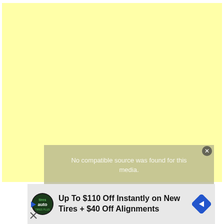[Figure (other): Large light yellow rectangle placeholder area, likely a video or ad placeholder]
No compatible source was found for this media.
[Figure (other): Advertisement banner: Up To $110 Off Instantly on New Tires + $40 Off Alignments, with Tires Plus Auto logo and blue diamond arrow icon]